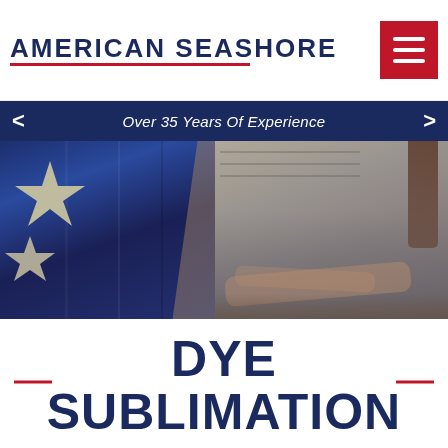AMERICAN SEASHORE
Over 35 Years Of Experience
[Figure (photo): Hero image showing an American flag with stars on the left and a person working on fabric/textile on the right, blended together.]
DYE SUBLIMATION
SOUTH FLORIDA DIGITAL DYE SUBLIMATION TEXTILE & FABRIC